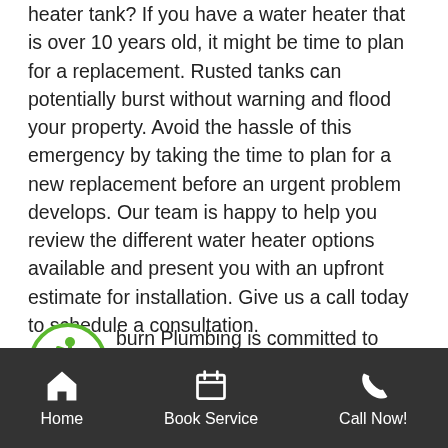heater tank? If you have a water heater that is over 10 years old, it might be time to plan for a replacement. Rusted tanks can potentially burst without warning and flood your property. Avoid the hassle of this emergency by taking the time to plan for a new replacement before an urgent problem develops. Our team is happy to help you review the different water heater options available and present you with an upfront estimate for installation. Give us a call today to schedule a consultation.
SCHEDULE WATER HEATER SERVICES YOU CAN TRUST IN TOPEKA, KS
[Figure (illustration): Green circle with wheelchair accessibility icon]
burn Plumbing is committed to providing the best solutions to keep our customers enjoying worry-free
Home   Book Service   Call Now!